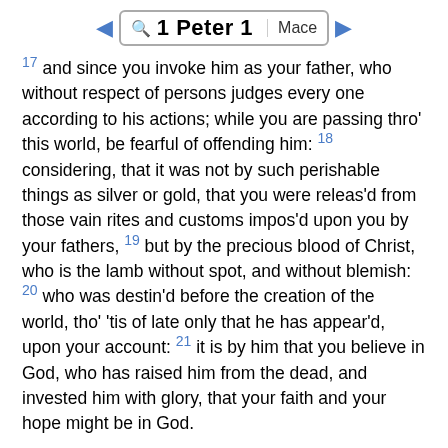1 Peter 1 | Mace
17 and since you invoke him as your father, who without respect of persons judges every one according to his actions; while you are passing thro' this world, be fearful of offending him: 18 considering, that it was not by such perishable things as silver or gold, that you were releas'd from those vain rites and customs impos'd upon you by your fathers, 19 but by the precious blood of Christ, who is the lamb without spot, and without blemish: 20 who was destin'd before the creation of the world, tho' 'tis of late only that he has appear'd, upon your account: 21 it is by him that you believe in God, who has raised him from the dead, and invested him with glory, that your faith and your hope might be in God.
22 You that have purified your souls by the holy spirit, in obeying the gospel, which obliges you to an undisguised benevolence, let your hearts be mutually affected with the